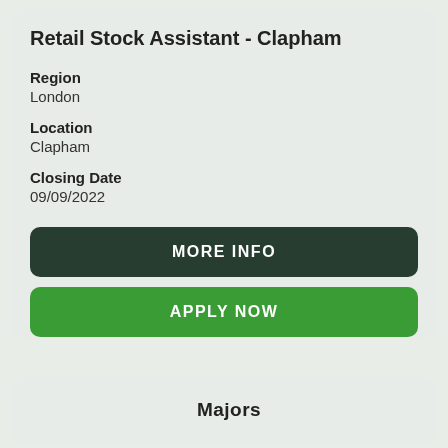Retail Stock Assistant - Clapham
Region
London
Location
Clapham
Closing Date
09/09/2022
MORE INFO
APPLY NOW